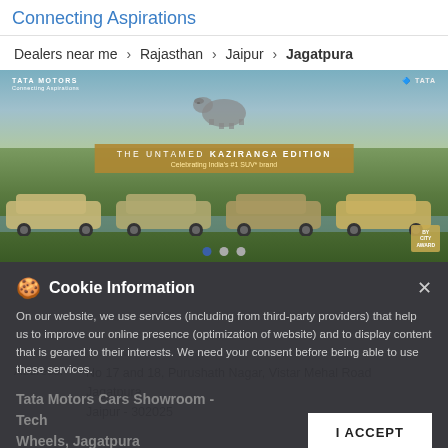Connecting Aspirations
Dealers near me > Rajasthan > Jaipur > Jagatpura
[Figure (photo): Tata Motors advertisement banner showing four SUVs in a natural setting with a rhino silhouette in the background. Text reads: THE UNTAMED KAZIRANGA EDITION – Celebrating India's #1 SUV* brand]
Cookie Information
On our website, we use services (including from third-party providers) that help us to improve our online presence (optimization of website) and to display content that is geared to their interests. We need your consent before being able to use these services.
Tata Motors Cars Showroom - Tech Wheels, Jagatpura
Address: No 17 and 18, Purushath Nagar, Vistar Mehal Road
Jagatpura
Jaipur - 302025